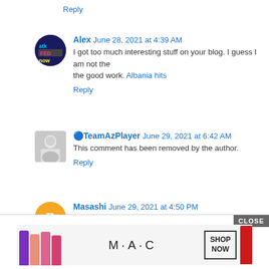Reply
Alex  June 28, 2021 at 4:39 AM
I got too much interesting stuff on your blog. I guess I am not the the good work. Albania hits
Reply
🔵TeamAzPlayer  June 29, 2021 at 6:42 AM
This comment has been removed by the author.
Reply
Masashi  June 29, 2021 at 4:50 PM
Good site, hopefully useful for all webmasters, and thank you for j Bocoran Hk
Reply
[Figure (screenshot): MAC cosmetics advertisement with lipsticks, MAC logo, SHOP NOW button, and CLOSE button]